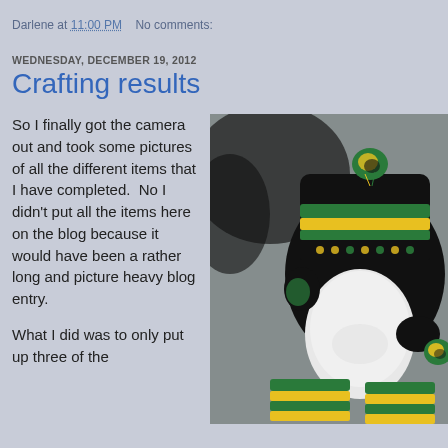Darlene at 11:00 PM    No comments:
WEDNESDAY, DECEMBER 19, 2012
Crafting results
So I finally got the camera out and took some pictures of all the different items that I have completed.  No I didn't put all the items here on the blog because it would have been a rather long and picture heavy blog entry.
What I did was to only put up three of the
[Figure (photo): A mannequin head wearing a black, green, and yellow knitted hat with a pom-pom on top and ear flaps, along with a matching striped scarf in green and yellow, displayed against a gray fabric background.]